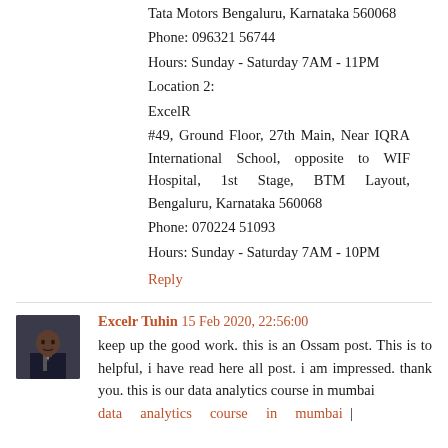Tata Motors Bengaluru, Karnataka 560068
Phone: 096321 56744
Hours: Sunday - Saturday 7AM - 11PM
Location 2:
ExcelR
#49, Ground Floor, 27th Main, Near IQRA International School, opposite to WIF Hospital, 1st Stage, BTM Layout, Bengaluru, Karnataka 560068
Phone: 070224 51093
Hours: Sunday - Saturday 7AM - 10PM
Reply
Excelr Tuhin  15 Feb 2020, 22:56:00
keep up the good work. this is an Ossam post. This is to helpful, i have read here all post. i am impressed. thank you. this is our data analytics course in mumbai
data    analytics    course    in    mumbai  |